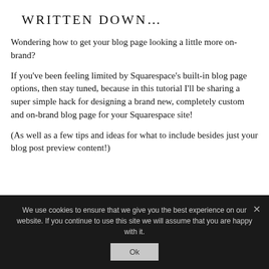WRITTEN DOWN...
Wondering how to get your blog page looking a little more on-brand?
If you've been feeling limited by Squarespace's built-in blog page options, then stay tuned, because in this tutorial I'll be sharing a super simple hack for designing a brand new, completely custom and on-brand blog page for your Squarespace site!
(As well as a few tips and ideas for what to include besides just your blog post preview content!)
We use cookies to ensure that we give you the best experience on our website. If you continue to use this site we will assume that you are happy with it.